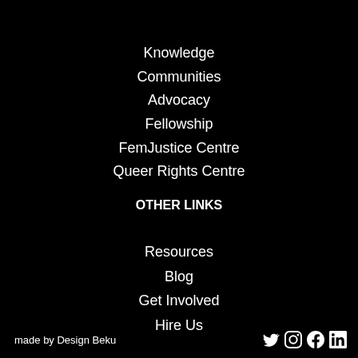Knowledge
Communities
Advocacy
Fellowship
FemJustice Centre
Queer Rights Centre
OTHER LINKS
Resources
Blog
Get Involved
Hire Us
made by Design Beku